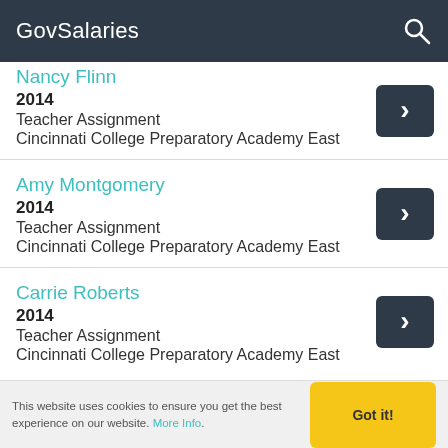GovSalaries
Nancy Flinn | 2014 | Teacher Assignment | Cincinnati College Preparatory Academy East
Amy Montgomery | 2014 | Teacher Assignment | Cincinnati College Preparatory Academy East
Carrie Roberts | 2014 | Teacher Assignment | Cincinnati College Preparatory Academy East
This website uses cookies to ensure you get the best experience on our website. More Info.